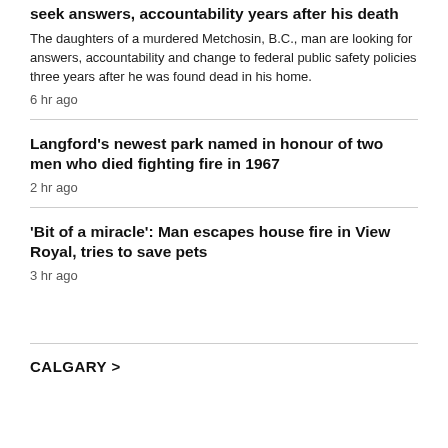seek answers, accountability years after his death
The daughters of a murdered Metchosin, B.C., man are looking for answers, accountability and change to federal public safety policies three years after he was found dead in his home.
6 hr ago
Langford's newest park named in honour of two men who died fighting fire in 1967
2 hr ago
'Bit of a miracle': Man escapes house fire in View Royal, tries to save pets
3 hr ago
CALGARY >